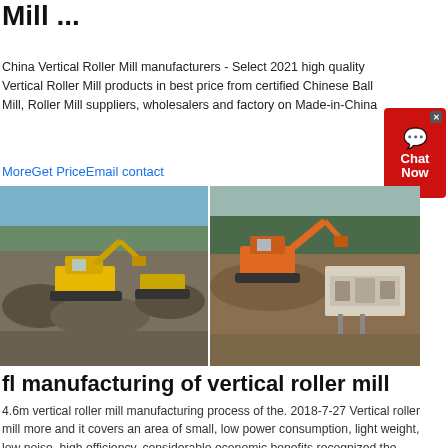Mill ...
China Vertical Roller Mill manufacturers - Select 2021 high quality Vertical Roller Mill products in best price from certified Chinese Ball Mill, Roller Mill suppliers, wholesalers and factory on Made-in-China
MoreGet PriceEmail contact
[Figure (photo): Two construction/mining site photos side by side: left shows yellow excavator and machinery on rocky terrain; right shows orange excavator with industrial equipment on a dirt site with forest background]
fl manufacturing of vertical roller mill
4.6m vertical roller mill manufacturing process of the. 2018-7-27 Vertical roller mill more and it covers an area of small, low power consumption, light weight, low noise, high efficiency, considerable economic benefits recognized the benefits of the construction materials industry. 4.6m vertical roller mill is our main product, while the rotor is an essential component of the vertical ...